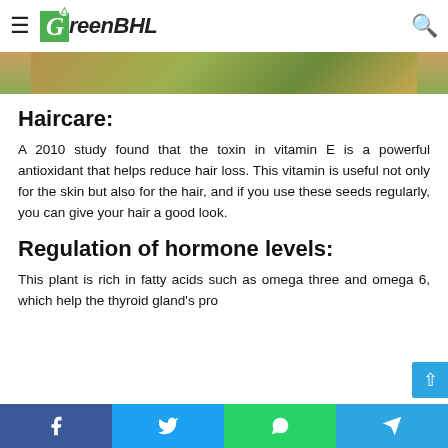GreenBHL
[Figure (photo): Banner image strip showing plant/nature scene in green and gold tones]
Haircare:
A 2010 study found that the toxin in vitamin E is a powerful antioxidant that helps reduce hair loss. This vitamin is useful not only for the skin but also for the hair, and if you use these seeds regularly, you can give your hair a good look.
Regulation of hormone levels:
This plant is rich in fatty acids such as omega three and omega 6, which help the thyroid gland's pro
Facebook | Twitter | WhatsApp | Telegram